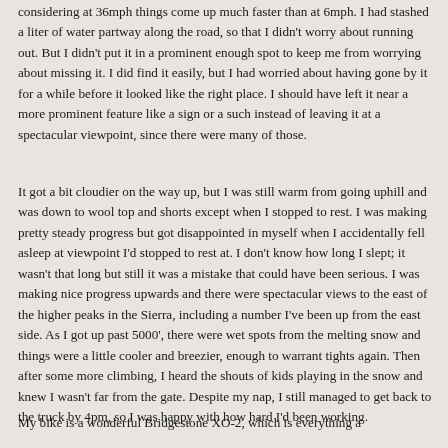considering at 36mph things come up much faster than at 6mph. I had stashed a liter of water partway along the road, so that I didn't worry about running out. But I didn't put it in a prominent enough spot to keep me from worrying about missing it. I did find it easily, but I had worried about having gone by it for a while before it looked like the right place. I should have left it near a more prominent feature like a sign or a such instead of leaving it at a spectacular viewpoint, since there were many of those.
It got a bit cloudier on the way up, but I was still warm from going uphill and was down to wool top and shorts except when I stopped to rest. I was making pretty steady progress but got disappointed in myself when I accidentally fell asleep at viewpoint I'd stopped to rest at. I don't know how long I slept; it wasn't that long but still it was a mistake that could have been serious. I was making nice progress upwards and there were spectacular views to the east of the higher peaks in the Sierra, including a number I've been up from the east side. As I got up past 5000', there were wet spots from the melting snow and things were a little cooler and breezier, enough to warrant tights again. Then after some more climbing, I heard the shouts of kids playing in the snow and knew I wasn't far from the gate. Despite my nap, I still managed to get back to the truck by 4pm, so I was happy with how hard I'd been working.
My bike is a wonderful Bridgestone XO-2, which is everything a "do it all" should be, but really it's a 36lb. bike with 1.4" slick